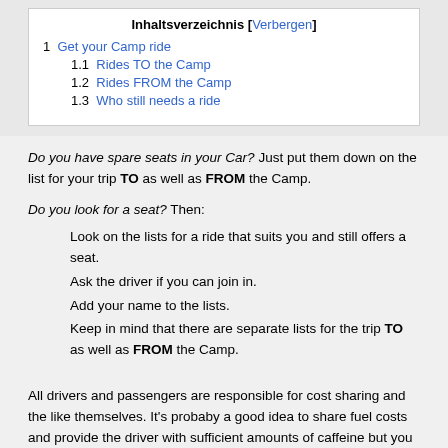Inhaltsverzeichnis [Verbergen]
1  Get your Camp ride
1.1  Rides TO the Camp
1.2  Rides FROM the Camp
1.3  Who still needs a ride
Do you have spare seats in your Car? Just put them down on the list for your trip TO as well as FROM the Camp.
Do you look for a seat? Then:
Look on the lists for a ride that suits you and still offers a seat.
Ask the driver if you can join in.
Add your name to the lists.
Keep in mind that there are separate lists for the trip TO as well as FROM the Camp.
All drivers and passengers are responsible for cost sharing and the like themselves. It's probaby a good idea to share fuel costs and provide the driver with sufficient amounts of caffeine but you have to figure that out yourselves.